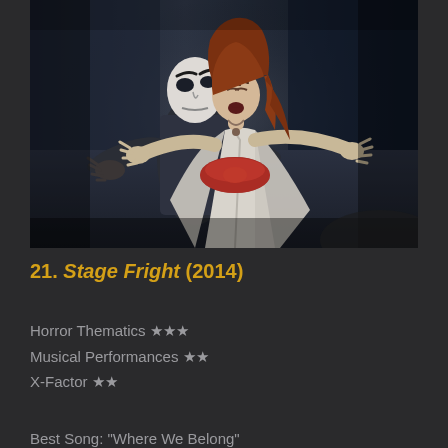[Figure (photo): Two performers in a theatrical/horror scene: one wearing a white theatrical mask and dark coat, another with long auburn hair in a white kimono-style garment with a red obi sash, arms outstretched, against a dark blue background.]
21. Stage Fright (2014)
Horror Thematics ★★★
Musical Performances ★★
X-Factor ★★
Best Song: "Where We Belong"